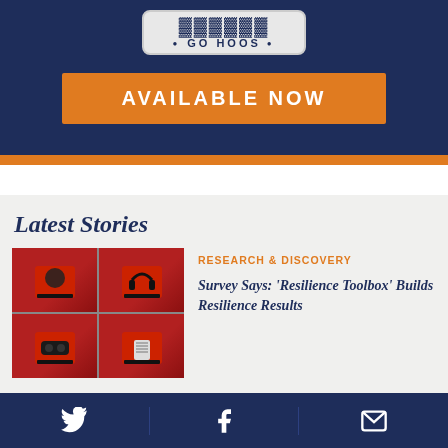[Figure (illustration): Dark navy blue banner with a license plate reading 'GO HOOS' and an orange 'AVAILABLE NOW' button below it]
Latest Stories
[Figure (photo): Four-panel photo grid showing red toolboxes with various items: a ball, headphones, VR headset, and a controller/device]
RESEARCH & DISCOVERY
Survey Says: 'Resilience Toolbox' Builds Resilience Results
Twitter | Facebook | Email icons